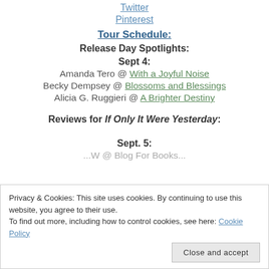Twitter
Pinterest
Tour Schedule:
Release Day Spotlights:
Sept 4:
Amanda Tero @ With a Joyful Noise
Becky Dempsey @ Blossoms and Blessings
Alicia G. Ruggieri @ A Brighter Destiny
Reviews for If Only It Were Yesterday:
Sept. 5:
...W @ Blog For Books...
Privacy & Cookies: This site uses cookies. By continuing to use this website, you agree to their use. To find out more, including how to control cookies, see here: Cookie Policy
Close and accept
Sept. 10: